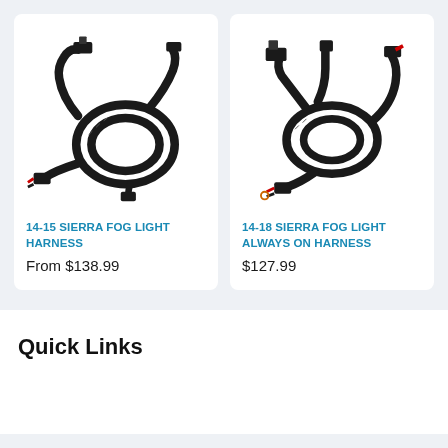[Figure (photo): Photo of black wiring harness coiled with connectors on both ends — 14-15 Sierra Fog Light Harness]
14-15 SIERRA FOG LIGHT HARNESS
From $138.99
[Figure (photo): Photo of black wiring harness with Y-split connectors — 14-18 Sierra Fog Light Always On Harness]
14-18 SIERRA FOG LIGHT ALWAYS ON HARNESS
$127.99
Quick Links